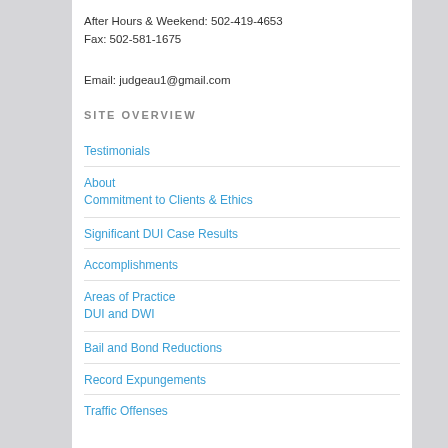After Hours & Weekend: 502-419-4653
Fax: 502-581-1675
Email: judgeau1@gmail.com
SITE OVERVIEW
Testimonials
About
Commitment to Clients & Ethics
Significant DUI Case Results
Accomplishments
Areas of Practice
DUI and DWI
Bail and Bond Reductions
Record Expungements
Traffic Offenses